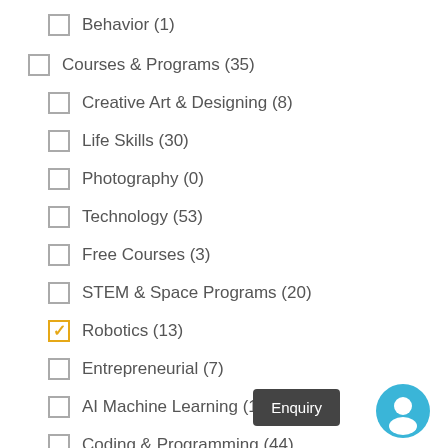Behavior (1)
Courses & Programs (35)
Creative Art & Designing (8)
Life Skills (30)
Photography (0)
Technology (53)
Free Courses (3)
STEM & Space Programs (20)
Robotics (13) [checked]
Entrepreneurial (7)
AI Machine Learning (10)
Coding & Programming (44)